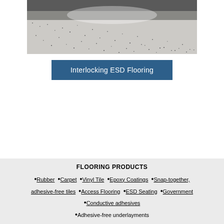[Figure (photo): Photograph of a speckled ESD flooring surface in what appears to be an industrial or cleanroom environment, viewed from above showing a mottled grey/white terrazzo-like floor surface.]
Interlocking ESD Flooring
FLOORING PRODUCTS
•Rubber •Carpet •Vinyl Tile •Epoxy Coatings •Snap-together, adhesive-free tiles •Access Flooring •ESD Seating •Government •Conductive adhesives •Adhesive-free underlayments